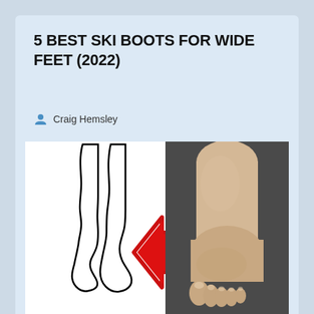5 BEST SKI BOOTS FOR WIDE FEET (2022)
Craig Hemsley
[Figure (illustration): Illustration showing two outline silhouettes of a wide foot side by side, a red arrow pointing left toward the outlines, and a photograph of a real wide foot from above on a dark background.]